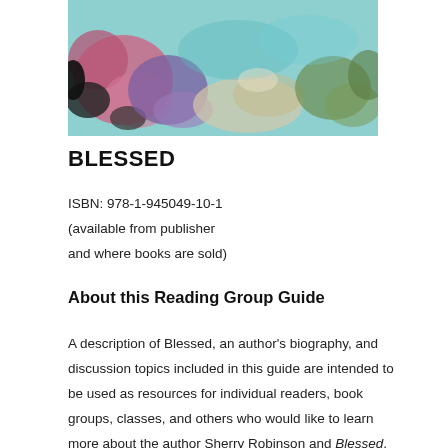[Figure (photo): Book cover image of 'Blessed' showing abstract colorful artwork with teal, pink, purple, and black tones on a light background]
BLESSED
ISBN: 978-1-945049-10-1
(available from publisher
and where books are sold)
About this Reading Group Guide
A description of Blessed, an author's biography, and discussion topics included in this guide are intended to be used as resources for individual readers, book groups, classes, and others who would like to learn more about the author Sherry Robinson and Blessed. We hope these resources will spark thought, conversation, and